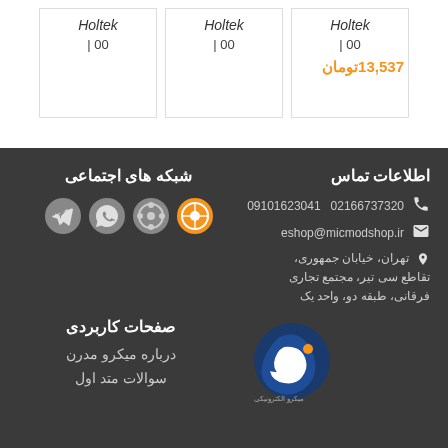| Brand | Qty | Brand | Qty | Brand | Qty/Price |
| --- | --- | --- | --- | --- | --- |
| Holtek | | 00 | Holtek | | 00 | Holtek | | 00 |
|  |  |  |  |  | 13,537 تومان |
اطلاعات تماس
09101623041   02166737320
eshop@micmodshop.ir
تهران، خیابان جمهوری، تقاطع سی تیر، مجتمع تجاری فرقانی، طبقه دو، واحد یک
شبکه های اجتماعی
[Figure (illustration): Social media icons: YouTube, film reel, WhatsApp, Telegram]
صفحات کاربردی
درباره میکرو مدرن
سوالات متد اول
[Figure (logo): Micmod electronics logo with blue circular design and text]